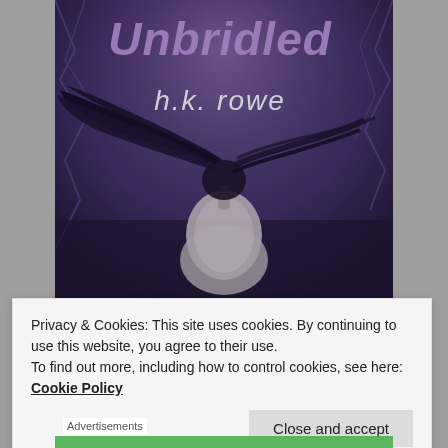[Figure (illustration): Book cover of 'Unbridled' by h.k. rowe — dark purple/blue atmospheric background with a woman with long dark hair blowing in the wind, wearing a light-colored dress, viewed from behind. Title 'Unbridled' in large purple text at top, author name 'h.k. rowe' in white italic text below.]
Privacy & Cookies: This site uses cookies. By continuing to use this website, you agree to their use.
To find out more, including how to control cookies, see here: Cookie Policy
Close and accept
Advertisements